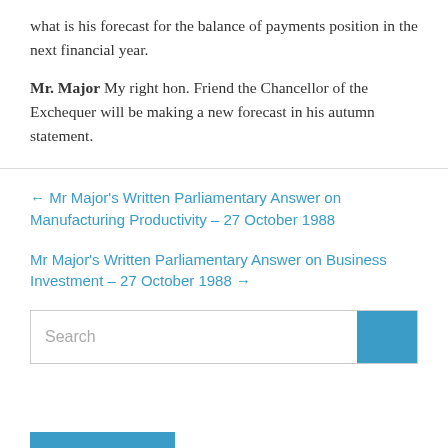what is his forecast for the balance of payments position in the next financial year.

Mr. Major My right hon. Friend the Chancellor of the Exchequer will be making a new forecast in his autumn statement.
← Mr Major's Written Parliamentary Answer on Manufacturing Productivity – 27 October 1988
Mr Major's Written Parliamentary Answer on Business Investment – 27 October 1988 →